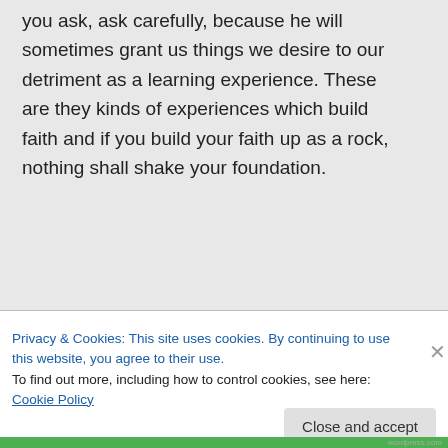you ask, ask carefully, because he will sometimes grant us things we desire to our detriment as a learning experience. These are they kinds of experiences which build faith and if you build your faith up as a rock, nothing shall shake your foundation.
★ Like
↪ Reply
Privacy & Cookies: This site uses cookies. By continuing to use this website, you agree to their use.
To find out more, including how to control cookies, see here: Cookie Policy
Close and accept